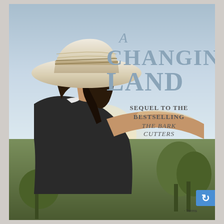[Figure (photo): Book cover for 'A Changing Land' showing a woman from behind wearing a wide-brimmed straw hat and dark sleeveless top, set against an outdoor landscape with trees and sky. Text overlay reads 'A Changing Land' and 'Sequel to the Bestselling The Bark Cutters'.]
A Changing Land
SEQUEL TO THE BESTSELLING THE BARK CUTTERS